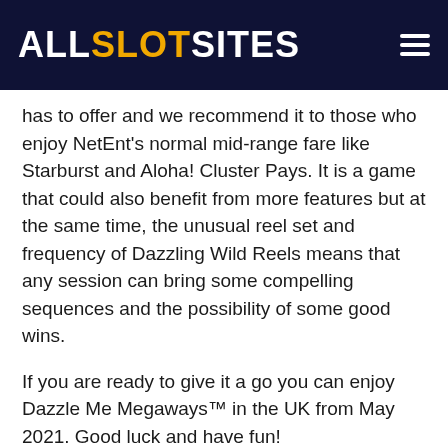ALLSLOTSITES
has to offer and we recommend it to those who enjoy NetEnt's normal mid-range fare like Starburst and Aloha! Cluster Pays. It is a game that could also benefit from more features but at the same time, the unusual reel set and frequency of Dazzling Wild Reels means that any session can bring some compelling sequences and the possibility of some good wins.
If you are ready to give it a go you can enjoy Dazzle Me Megaways™ in the UK from May 2021. Good luck and have fun!